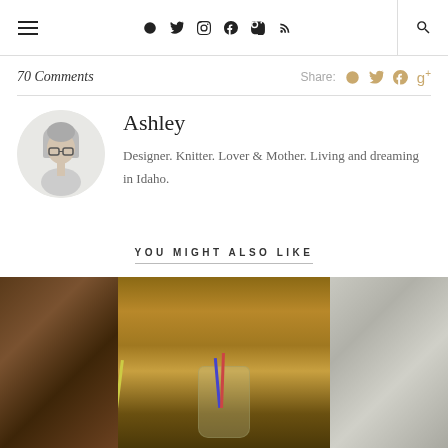≡  f  🐦  📷  𝐩  ⋙  🔍
70 Comments
Share: f 🐦 p g+
Ashley
Designer. Knitter. Lover & Mother. Living and dreaming in Idaho.
YOU MIGHT ALSO LIKE
[Figure (photo): Three side-by-side photos: a decorative item on wood, art supplies in a glass jar on a wooden table, and yarn/wool]